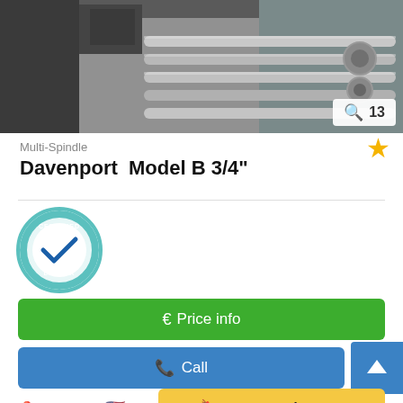[Figure (photo): Industrial multi-spindle machine interior showing metal rods, mechanical parts, and machinery components]
🔍 13
Multi-Spindle
Davenport  Model B 3/4"
[Figure (other): Certified Dealer badge/seal in teal and blue with checkmark]
€ Price info
📞 Call
Oak Forest 🇺🇸
913 km ❓
🔖 Save search query